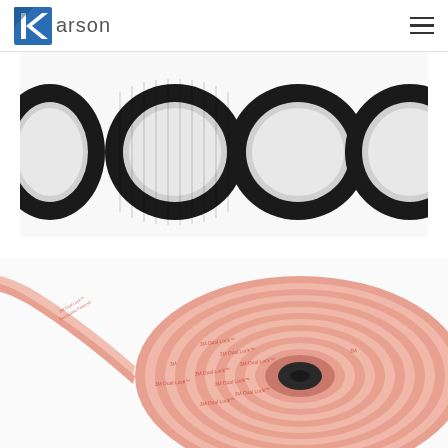Karson
[Figure (photo): Four black hook-and-loop velcro tape circles/rolls arranged in a row on a white background]
[Figure (photo): A large roll of 3M Dual Lock adhesive tape in pink/salmon color, shown in perspective view on white background]